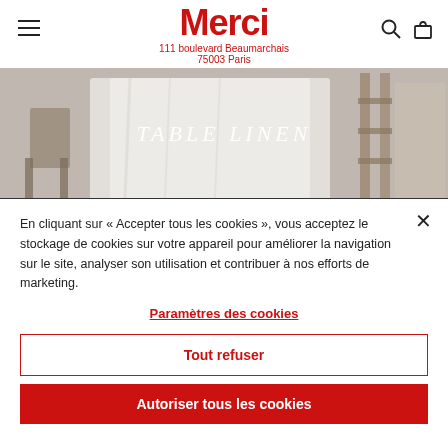Merci 111 boulevard Beaumarchais 75003 Paris
[Figure (photo): Hero image of white table linen draped over a wooden rack with text overlay 'TABLE LINEN' in italic serif font]
En cliquant sur « Accepter tous les cookies », vous acceptez le stockage de cookies sur votre appareil pour améliorer la navigation sur le site, analyser son utilisation et contribuer à nos efforts de marketing.
Paramètres des cookies
Tout refuser
Autoriser tous les cookies